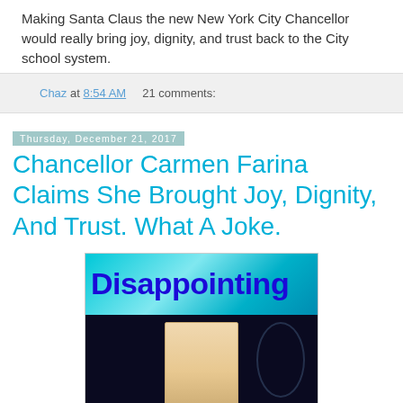Making Santa Claus the new New York City Chancellor would really bring joy, dignity, and trust back to the City school system.
Chaz at 8:54 AM    21 comments:
Thursday, December 21, 2017
Chancellor Carmen Farina Claims She Brought Joy, Dignity, And Trust. What A Joke.
[Figure (photo): Image with 'Disappointing' text banner in blue on a cyan/teal gradient background, with a photo of a blonde woman below on a dark background.]